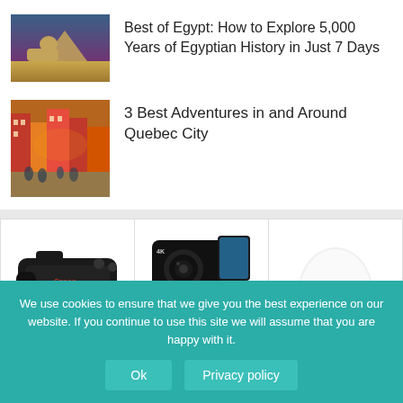[Figure (photo): Thumbnail image of the Sphinx and pyramids in Egypt]
Best of Egypt: How to Explore 5,000 Years of Egyptian History in Just 7 Days
[Figure (photo): Thumbnail image of a colorful street scene in Quebec City]
3 Best Adventures in and Around Quebec City
[Figure (photo): Canon DSLR camera product image]
[Figure (photo): 4K digital camera with accessories product image]
[Figure (photo): White security camera product image]
We use cookies to ensure that we give you the best experience on our website. If you continue to use this site we will assume that you are happy with it.
Ok
Privacy policy